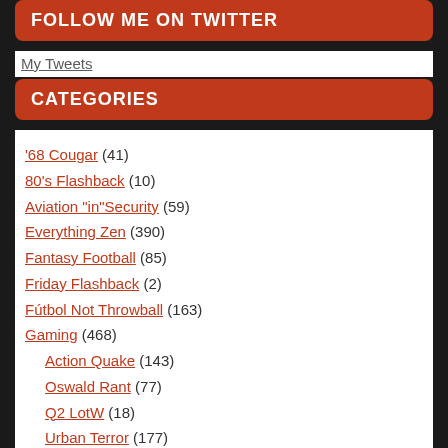FOLLOW ME ON TWITTER
My Tweets
CATEGORIES
'68 Cougar (41)
80's Flashback (10)
Aviation "in"Security (59)
Everything Zen (390)
Fantasy Football (85)
Friday Flashback (2)
Fútbol Not Throwball (163)
Gaming (468)
Action Quake (143)
Oswald Rant (77)
Q2 LotW (18)
Urban Terror (177)
Xbox (17)
Geocaching (1)
Ham Radio (394)